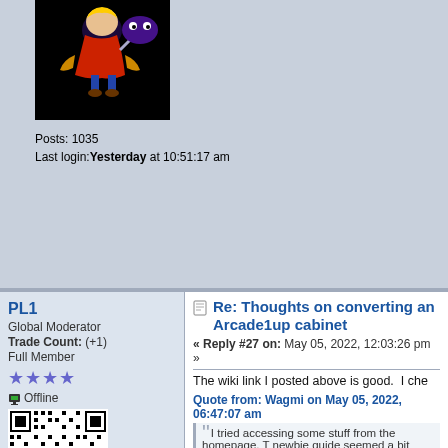[Figure (illustration): Game character avatar image on black background - appears to show a fantasy/arcade game character]
Posts: 1035
Last login: Yesterday at 10:51:17 am
PL1
Global Moderator
Trade Count: (+1)
Full Member
★★★★
🖥 Offline
[QR code image]
Posts: 8967
Last login: Today at 09:44:03 am
Designated spam hunter
Re: Thoughts on converting an Arcade1up cabinet
« Reply #27 on: May 05, 2022, 12:03:26 pm »
The wiki link I posted above is good.  I che
Quote from: Wagmi on May 05, 2022, 06:47:07 am
I tried accessing some stuff from the homepage. T newbie guide seemed a bit dated. Images weren't the rest of the forum, but I'm hoping to make my w
Yes, the info on the http://arcadecontrols.co wiki link there points to the now non-existar
When Saint loaded the new and old wikis o them on the wrong domains. 😐
- We've been waiting for over 3 years for hi